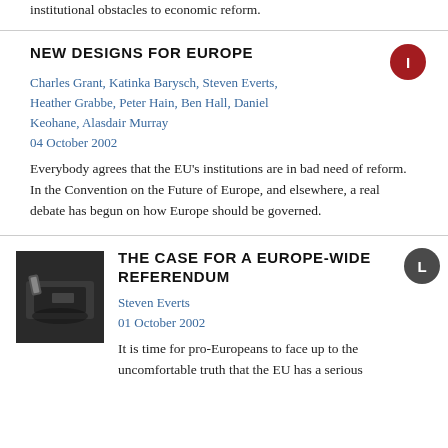institutional obstacles to economic reform.
NEW DESIGNS FOR EUROPE
Charles Grant, Katinka Barysch, Steven Everts, Heather Grabbe, Peter Hain, Ben Hall, Daniel Keohane, Alasdair Murray
04 October 2002
Everybody agrees that the EU's institutions are in bad need of reform. In the Convention on the Future of Europe, and elsewhere, a real debate has begun on how Europe should be governed.
THE CASE FOR A EUROPE-WIDE REFERENDUM
[Figure (photo): A hand inserting a ballot into a voting box, dark background]
Steven Everts
01 October 2002
It is time for pro-Europeans to face up to the uncomfortable truth that the EU has a serious